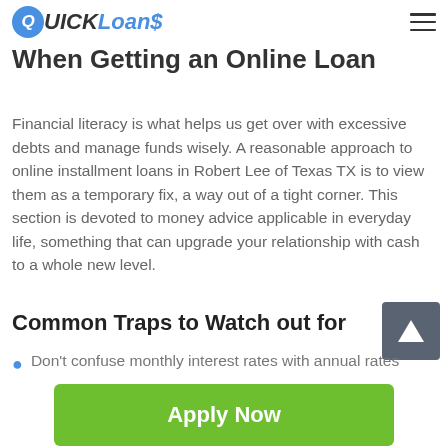Quick Loans
When Getting an Online Loan
Financial literacy is what helps us get over with excessive debts and manage funds wisely. A reasonable approach to online installment loans in Robert Lee of Texas TX is to view them as a temporary fix, a way out of a tight corner. This section is devoted to money advice applicable in everyday life, something that can upgrade your relationship with cash to a whole new level.
Common Traps to Watch out for
[Figure (other): Scroll-to-top arrow button, gray square with white upward arrow]
Don't confuse monthly interest rates with annual rates
[Figure (other): Green Apply Now button]
Applying does NOT affect your credit score!
No credit check to apply.